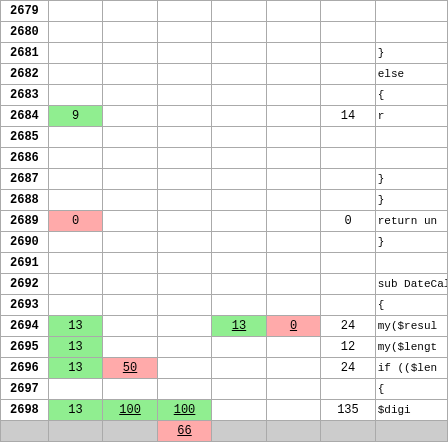| Line | A | B | C | D | E | F | Code |
| --- | --- | --- | --- | --- | --- | --- | --- |
| 2679 |  |  |  |  |  |  |  |
| 2680 |  |  |  |  |  |  |  |
| 2681 |  |  |  |  |  |  | } |
| 2682 |  |  |  |  |  |  | else |
| 2683 |  |  |  |  |  |  | { |
| 2684 | 9 |  |  |  |  | 14 | r |
| 2685 |  |  |  |  |  |  |  |
| 2686 |  |  |  |  |  |  |  |
| 2687 |  |  |  |  |  |  | } |
| 2688 |  |  |  |  |  |  | } |
| 2689 | 0 |  |  |  |  | 0 | return un |
| 2690 |  |  |  |  |  |  | } |
| 2691 |  |  |  |  |  |  |  |
| 2692 |  |  |  |  |  |  | sub DateCalc_ |
| 2693 |  |  |  |  |  |  | { |
| 2694 | 13 |  |  | 13 | 0 | 24 | my($resul |
| 2695 | 13 |  |  |  |  | 12 | my($lengt |
| 2696 | 13 | 50 |  |  |  | 24 | if (($len |
| 2697 |  |  |  |  |  |  | { |
| 2698 | 13 | 100 | 100 |  |  | 135 | $digi |
| (last) |  |  | 66 |  |  |  |  |